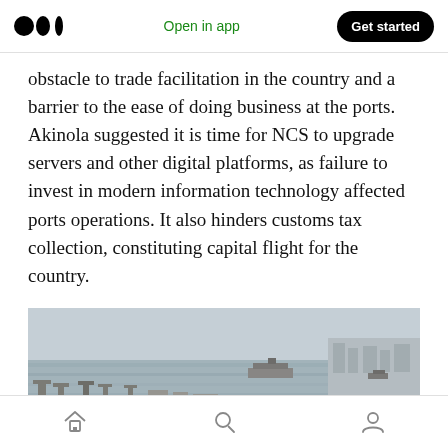Open in app | Get started
obstacle to trade facilitation in the country and a barrier to the ease of doing business at the ports. Akinola suggested it is time for NCS to upgrade servers and other digital platforms, as failure to invest in modern information technology affected ports operations. It also hinders customs tax collection, constituting capital flight for the country.
[Figure (photo): Aerial photograph of a large port/harbor showing ships, cranes, cargo facilities, and a wide river or waterway with hazy sky in the background.]
Home | Search | Profile navigation icons